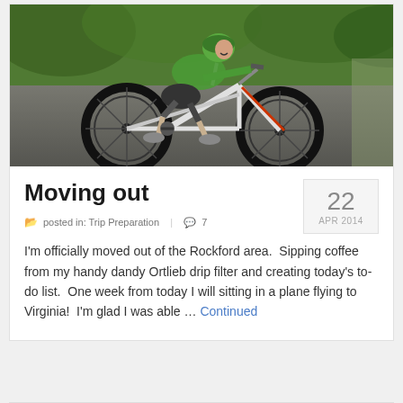[Figure (photo): Person wearing green hoodie riding a white mountain bike on a road, motion blur in background with green foliage]
Moving out
22
APR 2014
posted in: Trip Preparation  |  7
I'm officially moved out of the Rockford area.  Sipping coffee from my handy dandy Ortlieb drip filter and creating today's to-do list.  One week from today I will sitting in a plane flying to Virginia!  I'm glad I was able … Continued